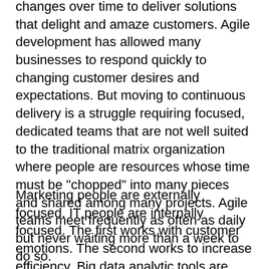changes over time to deliver solutions that delight and amaze customers. Agile development has allowed many businesses to respond quickly to changing customer desires and expectations. But moving to continuous delivery is a struggle requiring focused, dedicated teams that are not well suited to the traditional matrix organization where people are resources whose time must be "chopped" into many pieces and shared among many projects. Agile teams meet frequently as often as daily but never waiting more than a week to do so.
Marketing people are externally focused. IT people are internally focused. The first works with customer emotions. The second works to increase efficiency. Big data analytic tools are used by the first and